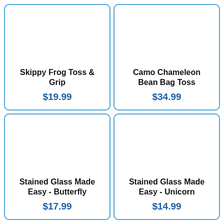Skippy Frog Toss & Grip
$19.99
Camo Chameleon Bean Bag Toss
$34.99
Stained Glass Made Easy - Butterfly
$17.99
Stained Glass Made Easy - Unicorn
$14.99